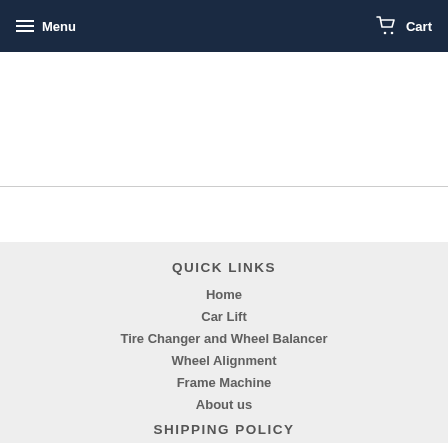Menu  Cart
QUICK LINKS
Home
Car Lift
Tire Changer and Wheel Balancer
Wheel Alignment
Frame Machine
About us
SHIPPING POLICY